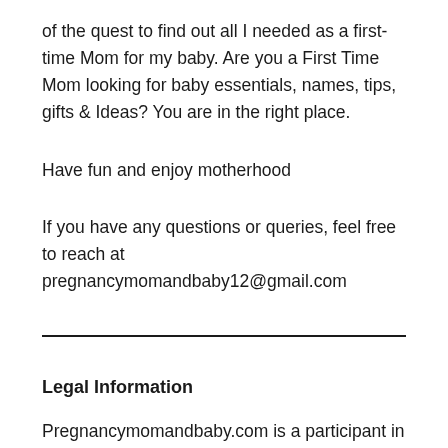of the quest to find out all I needed as a first-time Mom for my baby. Are you a First Time Mom looking for baby essentials, names, tips, gifts & Ideas? You are in the right place.
Have fun and enjoy motherhood
If you have any questions or queries, feel free to reach at pregnancymomandbaby12@gmail.com
Legal Information
Pregnancymomandbaby.com is a participant in the Amazon Services LLC Associates Program, an affiliate advertising